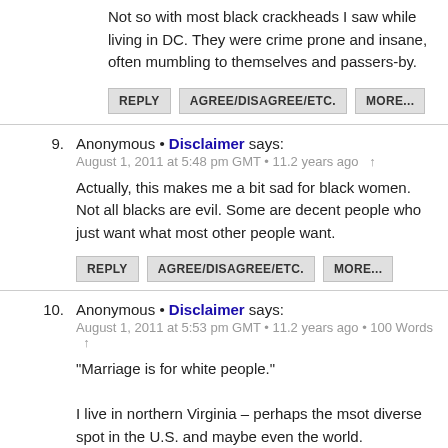Not so with most black crackheads I saw while living in DC. They were crime prone and insane, often mumbling to themselves and passers-by.
REPLY   AGREE/DISAGREE/ETC.   MORE...
9.  Anonymous • Disclaimer says:
August 1, 2011 at 5:48 pm GMT • 11.2 years ago  ↑

Actually, this makes me a bit sad for black women. Not all blacks are evil. Some are decent people who just want what most other people want.
REPLY   AGREE/DISAGREE/ETC.   MORE...
10.  Anonymous • Disclaimer says:
August 1, 2011 at 5:53 pm GMT • 11.2 years ago • 100 Words  ↑

"Marriage is for white people."

I live in northern Virginia – perhaps the msot diverse spot in the U.S. and maybe even the world.